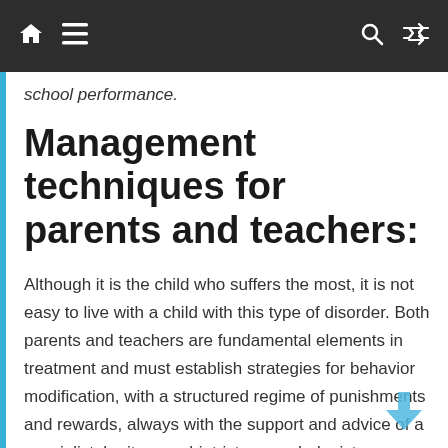Navigation bar with home, menu, search, and shuffle icons
school performance.
Management techniques for parents and teachers:
Although it is the child who suffers the most, it is not easy to live with a child with this type of disorder. Both parents and teachers are fundamental elements in treatment and must establish strategies for behavior modification, with a structured regime of punishments and rewards, always with the support and advice of a specialist, be it a psychiatrist, a psychologist or a child therapist. Parents must understand that excessive permissiveness will not help their children and in any case will prevent them from learning to be responsible